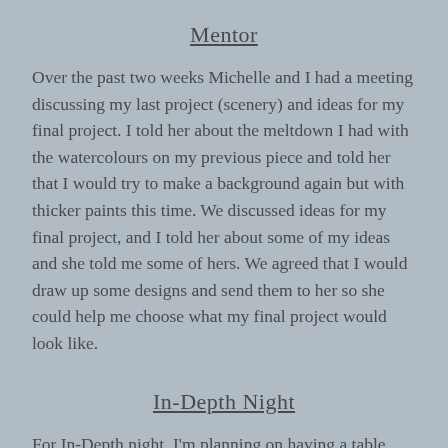Mentor
Over the past two weeks Michelle and I had a meeting discussing my last project (scenery) and ideas for my final project. I told her about the meltdown I had with the watercolours on my previous piece and told her that I would try to make a background again but with thicker paints this time. We discussed ideas for my final project, and I told her about some of my ideas and she told me some of hers. We agreed that I would draw up some designs and send them to her so she could help me choose what my final project would look like.
In-Depth Night
For In-Depth night, I'm planning on having a table